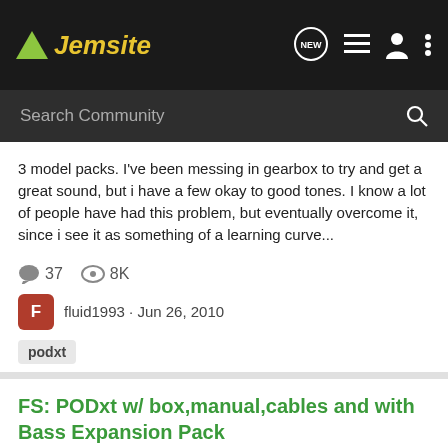Jemsite
3 model packs. I've been messing in gearbox to try and get a great sound, but i have a few okay to good tones. I know a lot of people have had this problem, but eventually overcome it, since i see it as something of a learning curve...
37 comments · 8K views · fluid1993 · Jun 26, 2010 · podxt
FS: PODxt w/ box,manual,cables and with Bass Expansion Pack
Classified Ads: Guitars and Gear
FS: PODxt in good condition. Includes box, manual, cables (adapter and USB) and also includes the Bass expansion